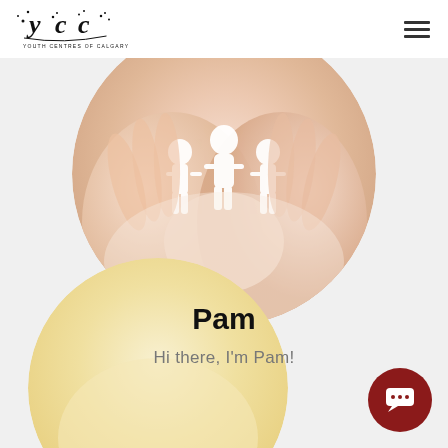[Figure (logo): Youth Centres of Calgary (YCC) logo — stylized '.ycc.' text with dots and curves, subtitle 'YOUTH CENTRES OF CALGARY']
[Figure (photo): Circular cropped photo of hands cupping white paper cutout figures of people]
Pam
Hi there, I'm Pam!
[Figure (photo): Partially visible circular cropped photo at the bottom of the page, warm yellow/cream tones]
[Figure (other): Dark red circular chat/message button with white speech bubble icon, bottom-right corner]